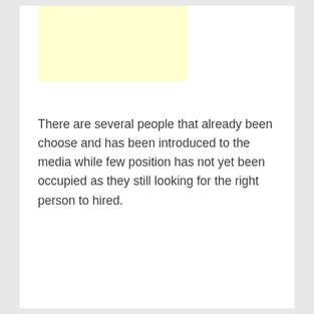[Figure (other): Light yellow rectangle placeholder/image area at the top of the page]
There are several people that already been choose and has been introduced to the media while few position has not yet been occupied as they still looking for the right person to hired.